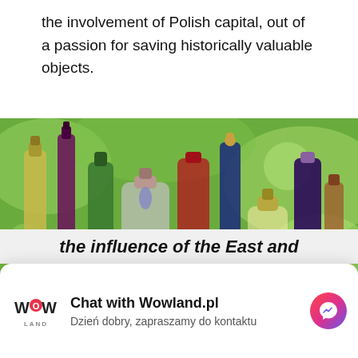the involvement of Polish capital, out of a passion for saving historically valuable objects.
[Figure (photo): Photo of multiple glass bottles with cork stoppers containing various colorful infusions, oils, and preserved items such as garlic and berries, arranged on a green outdoor background. Text overlay reads 'CULINARY JOURNEY'.]
Chat with Wowland.pl
Dzień dobry, zapraszamy do kontaktu
the influence of the East and